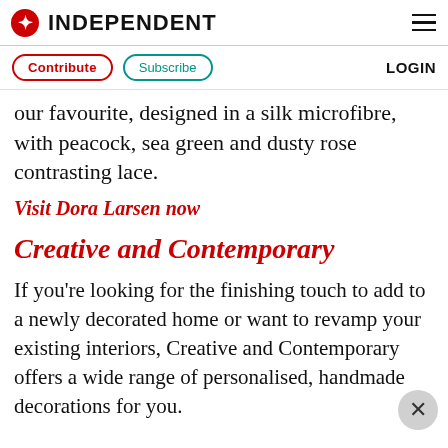INDEPENDENT
Contribute   Subscribe   LOGIN
our favourite, designed in a silk microfibre, with peacock, sea green and dusty rose contrasting lace.
Visit Dora Larsen now
Creative and Contemporary
If you're looking for the finishing touch to add to a newly decorated home or want to revamp your existing interiors, Creative and Contemporary offers a wide range of personalised, handmade decorations for you.